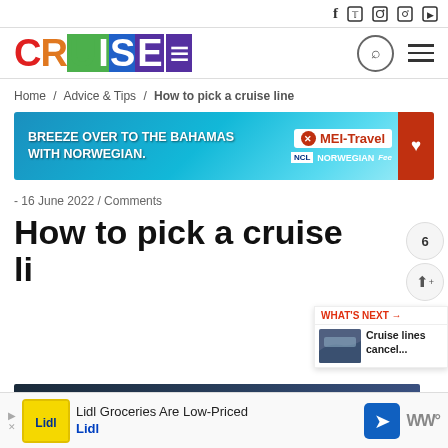Social icons: f, Twitter, Instagram, Pinterest, YouTube
[Figure (logo): CRUISE magazine logo in multicolor letters]
Home / Advice & Tips / How to pick a cruise line
[Figure (infographic): Advertisement banner: BREEZE OVER TO THE BAHAMAS WITH NORWEGIAN. MEI-Travel. Norwegian Cruise Line logo.]
- 16 June 2022 / Comments
How to pick a cruise li...
[Figure (infographic): What's Next panel: Cruise lines cancel...]
[Figure (infographic): Bottom advertisement: Lidl Groceries Are Low-Priced. Lidl.]